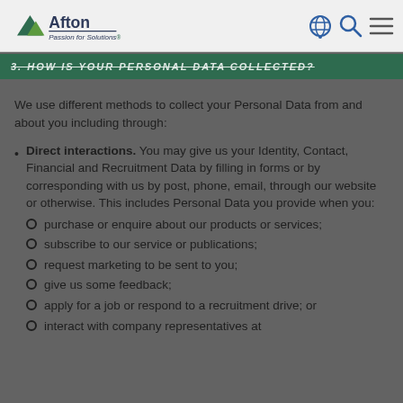Afton Chemical - Passion for Solutions
3. HOW IS YOUR PERSONAL DATA COLLECTED?
We use different methods to collect your Personal Data from and about you including through:
Direct interactions. You may give us your Identity, Contact, Financial and Recruitment Data by filling in forms or by corresponding with us by post, phone, email, through our website or otherwise. This includes Personal Data you provide when you:
purchase or enquire about our products or services;
subscribe to our service or publications;
request marketing to be sent to you;
give us some feedback;
apply for a job or respond to a recruitment drive; or
interact with company representatives at